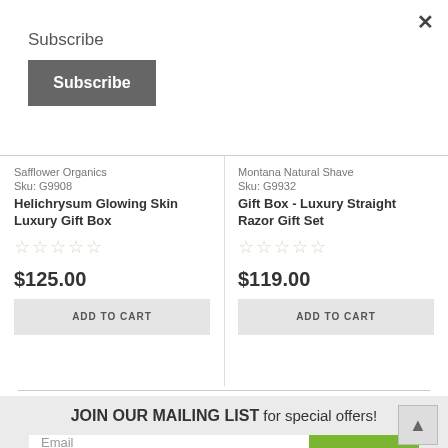×
Subscribe
Subscribe
Safflower Organics
Sku: G9908
Helichrysum Glowing Skin Luxury Gift Box
★★★★★
$125.00
ADD TO CART
Montana Natural Shave
Sku: G9932
Gift Box - Luxury Straight Razor Gift Set
★★★★★
$119.00
ADD TO CART
JOIN OUR MAILING LIST for special offers!
Email
JOIN